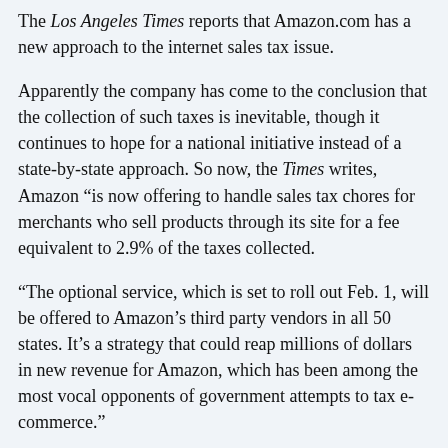The Los Angeles Times reports that Amazon.com has a new approach to the internet sales tax issue.
Apparently the company has come to the conclusion that the collection of such taxes is inevitable, though it continues to hope for a national initiative instead of a state-by-state approach. So now, the Times writes, Amazon “is now offering to handle sales tax chores for merchants who sell products through its site for a fee equivalent to 2.9% of the taxes collected.
“The optional service, which is set to roll out Feb. 1, will be offered to Amazon’s third party vendors in all 50 states. It’s a strategy that could reap millions of dollars in new revenue for Amazon, which has been among the most vocal opponents of government attempts to tax e-commerce.”
The story goes on: “Amazon’s new offer is